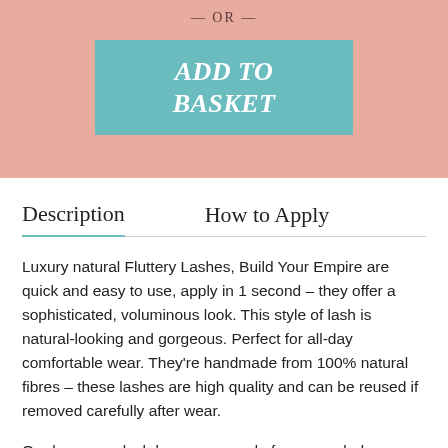— OR —
[Figure (other): Teal 'ADD TO BASKET' button on pink background]
Description
How to Apply
Luxury natural Fluttery Lashes, Build Your Empire are quick and easy to use, apply in 1 second – they offer a sophisticated, voluminous look. This style of lash is natural-looking and gorgeous. Perfect for all-day comfortable wear. They're handmade from 100% natural fibres – these lashes are high quality and can be reused if removed carefully after wear.
Our luxury eyelash boxes are made from recycled materials. Created with an easy to use, luxury